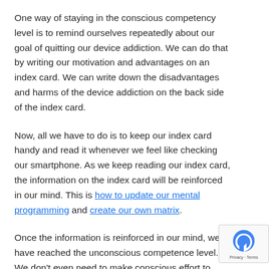One way of staying in the conscious competency level is to remind ourselves repeatedly about our goal of quitting our device addiction. We can do that by writing our motivation and advantages on an index card. We can write down the disadvantages and harms of the device addiction on the back side of the index card.
Now, all we have to do is to keep our index card handy and read it whenever we feel like checking our smartphone. As we keep reading our index card, the information on the index card will be reinforced in our mind. This is how to update our mental programming and create our own matrix.
Once the information is reinforced in our mind, we have reached the unconscious competence level. We don't even need to make conscious effort to remind ourselves about the harms of device addiction. It overrides our urges on autopilot without our conscious effort.